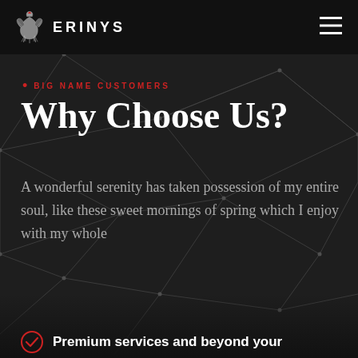[Figure (logo): Erinys company logo with stylized eagle/bird icon and ERINYS text in white on black header bar]
• BIG NAME CUSTOMERS
Why Choose Us?
A wonderful serenity has taken possession of my entire soul, like these sweet mornings of spring which I enjoy with my whole
Premium services and beyond your